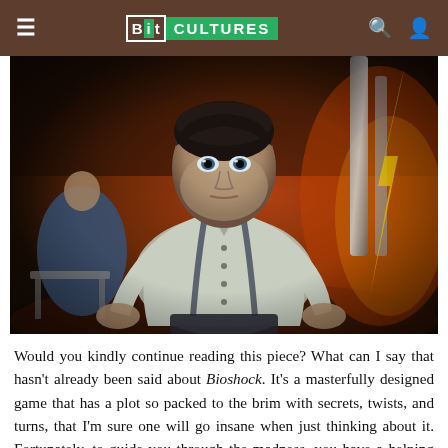Bit Cultures
[Figure (screenshot): A video game screenshot from Bioshock showing a male character in a white shirt with suspenders, sitting and staring intensely at the camera. The background shows a dark, moody environment with orange fiery tones and a large metallic structure. Another character is visible to the left.]
Would you kindly continue reading this piece? What can I say that hasn't already been said about Bioshock. It's a masterfully designed game that has a plot so packed to the brim with secrets, twists, and turns, that I'm sure one will go insane when just thinking about it. Fortunately, to guide you through the madness, you have a helping friend by the name of Atlas. An Irish speaking, no nonsense family